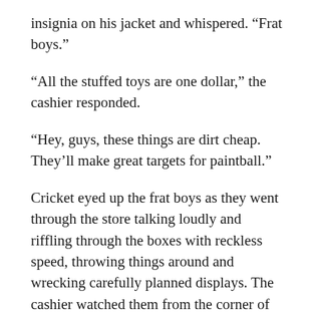insignia on his jacket and whispered.  “Frat boys.”
“All the stuffed toys are one dollar,” the cashier responded.
“Hey, guys, these things are dirt cheap.  They’ll make great targets for paintball.”
Cricket eyed up the frat boys as they went through the store talking loudly and riffling through the boxes with reckless speed, throwing things around and wrecking carefully planned displays.  The cashier watched them from the corner of her eye.